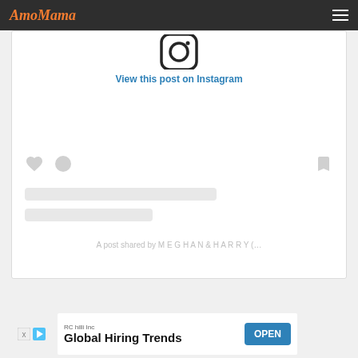AmoMama
[Figure (screenshot): Instagram embedded post placeholder showing partial Instagram logo at top, 'View this post on Instagram' link in blue, social interaction icons (heart, comment bubble, bookmark), skeleton loading bars, and caption 'A post shared by M E G H A N & H A R R Y (…']
View this post on Instagram
A post shared by M E G H A N & H A R R Y (…
[Figure (infographic): Advertisement banner: RChilli Inc - Global Hiring Trends with OPEN button]